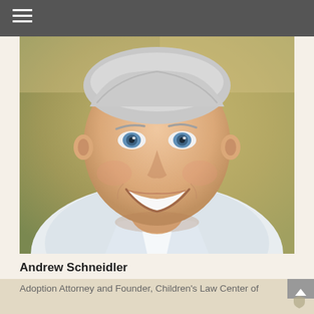[Figure (photo): Professional headshot of Andrew Schneidler, a middle-aged man with short gray hair, blue eyes, and a broad smile, wearing a white collared shirt. Background is blurred outdoor scene with golden/green tones.]
Andrew Schneidler
Adoption Attorney and Founder, Children's Law Center of Washington